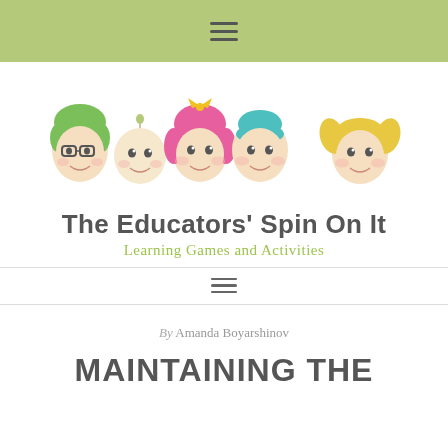≡
[Figure (illustration): Five cartoon child faces in a row: a boy with green hair and glasses, a baby with a round head, a girl with pink hair and a bow, a child with teal hair, and a girl with blonde pigtails. Below the illustration is the blog logo text.]
The Educators' Spin On It
Learning Games and Activities
≡
By Amanda Boyarshinov
MAINTAINING THE